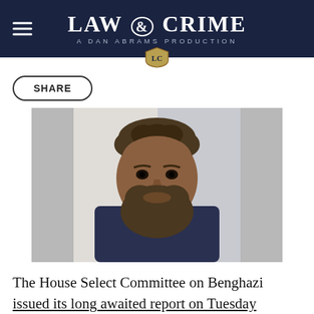LAW & CRIME — A DAN ABRAMS PRODUCTION
SHARE
[Figure (photo): Mugshot-style photograph of a bearded man with curly hair wearing a dark shirt, set against a light background]
The House Select Committee on Benghazi issued its long awaited report on Tuesday morning. While most media reports are focused on the same